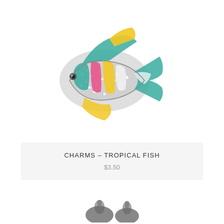[Figure (photo): Colorful tropical fish charm jewelry piece with teal, pink, yellow, white enamel stripes and crystal/rhinestone detailing on a silver-toned metal base, facing left]
CHARMS – TROPICAL FISH
$3.50
[Figure (photo): Partial view of another charm or jewelry item, dark metallic color, bottom of page]